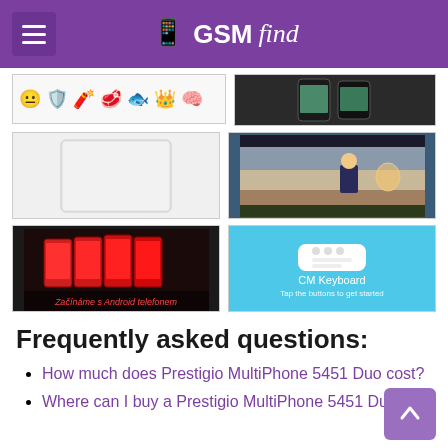GSMfind
[Figure (screenshot): GSMfind website screenshot showing image grid with emojis, phone, tablet, game screenshot, Android phones, and CM Keyboard app images]
Frequently asked questions:
How much does Prestigio MultiPhone 5451 Duo cost?
Where can I buy a Prestigio MultiPhone 5451 Duo